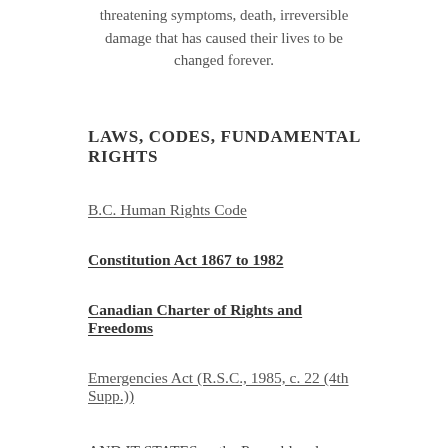threatening symptoms, death, irreversible damage that has caused their lives to be changed forever.
LAWS, CODES, FUNDAMENTAL RIGHTS
B.C. Human Rights Code
Constitution Act 1867 to 1982
Canadian Charter of Rights and Freedoms
Emergencies Act (R.S.C., 1985, c. 22 (4th Supp.))
AND IT STATES as the Preamble, please see bold section as this is particularly important. The Federal Emergency Act preamble states clearly that